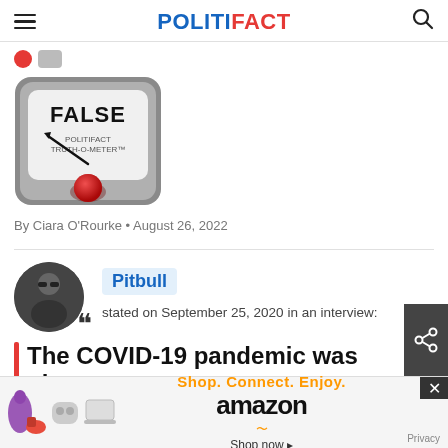POLITIFACT
[Figure (illustration): PolitiFact Truth-O-Meter gauge showing FALSE rating with a red button indicator pointing to FALSE, labeled POLITIFACT TRUTH-O-METER]
By Ciara O'Rourke • August 26, 2022
Pitbull stated on September 25, 2020 in an interview:
The COVID-19 pandemic was pl…
[Figure (illustration): Amazon advertisement banner: Shop. Connect. Enjoy. Shop now with product images and Privacy link]